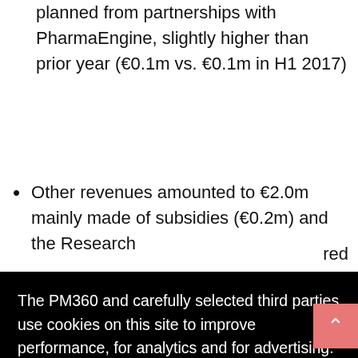planned from partnerships with PharmaEngine, slightly higher than prior year (€0.1m vs. €0.1m in H1 2017)
Other revenues amounted to €2.0m mainly made of subsidies (€0.2m) and the Research [Tax Credit, registered in 2018, shown as
The PM360 and carefully selected third parties use cookies on this site to improve performance, for analytics and for advertising. By browsing this site you are agreeing to this. For more information see our Privacy Policy
payments, amounted to €13.9m (H1 2017: